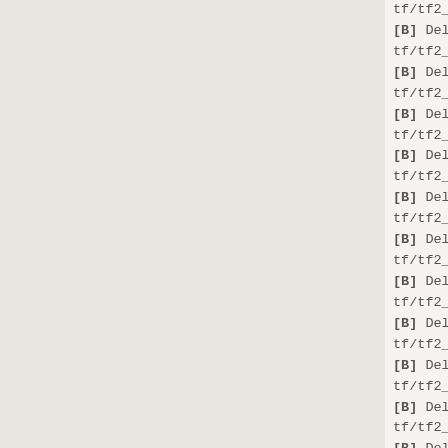tf/tf2_misc_dir.vpk/models/player/items/a
[B] Deleted:
tf/tf2_misc_dir.vpk/models/player/items/a
[B] Deleted:
tf/tf2_misc_dir.vpk/models/player/items/a
[B] Deleted:
tf/tf2_misc_dir.vpk/models/player/items/m
[B] Deleted:
tf/tf2_misc_dir.vpk/models/player/items/m
[B] Deleted:
tf/tf2_misc_dir.vpk/models/player/items/m
[B] Deleted:
tf/tf2_misc_dir.vpk/models/player/items/m
[B] Deleted:
tf/tf2_misc_dir.vpk/models/player/items/m
[B] Deleted:
tf/tf2_misc_dir.vpk/models/player/items/s
[B] Deleted:
tf/tf2_misc_dir.vpk/models/player/items/s
[B] Deleted:
tf/tf2_misc_dir.vpk/models/player/items/s
[B] Deleted:
tf/tf2_misc_dir.vpk/models/player/items/s
[B] Deleted:
tf/tf2_misc_dir.vpk/models/player/items/s
[B] Modified:
tf/tf2_misc_dir.vpk/models/player/medic...